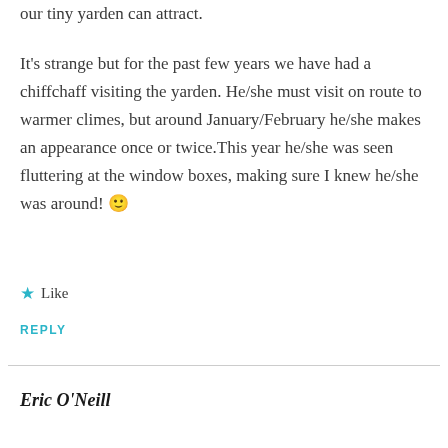our tiny yarden can attract.
It's strange but for the past few years we have had a chiffchaff visiting the yarden. He/she must visit on route to warmer climes, but around January/February he/she makes an appearance once or twice.This year he/she was seen fluttering at the window boxes, making sure I knew he/she was around! 🙂
Like
REPLY
Eric O'Neill